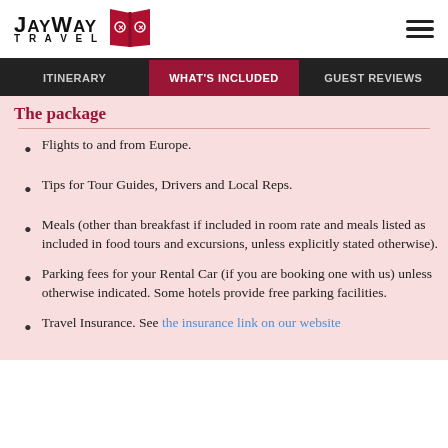JayWay Travel
ITINERARY | WHAT'S INCLUDED | GUEST REVIEWS
The package includes:
Flights to and from Europe.
Tips for Tour Guides, Drivers and Local Reps.
Meals (other than breakfast if included in room rate and meals listed as included in food tours and excursions, unless explicitly stated otherwise).
Parking fees for your Rental Car (if you are booking one with us) unless otherwise indicated. Some hotels provide free parking facilities.
Travel Insurance. See the insurance link on our website